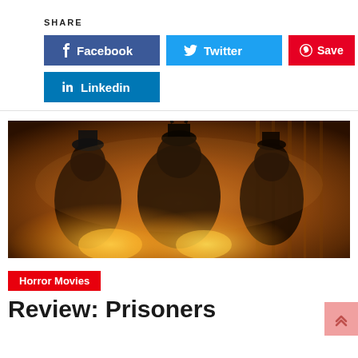SHARE
[Figure (infographic): Social share buttons: Facebook (blue), Twitter (light blue), Save/Pinterest (red), Linkedin (dark blue)]
[Figure (photo): Dark cinematic still from a horror movie showing three figures in elaborate costumes/armor standing in a foggy, orange-lit environment]
Horror Movies
Review: Prisoners